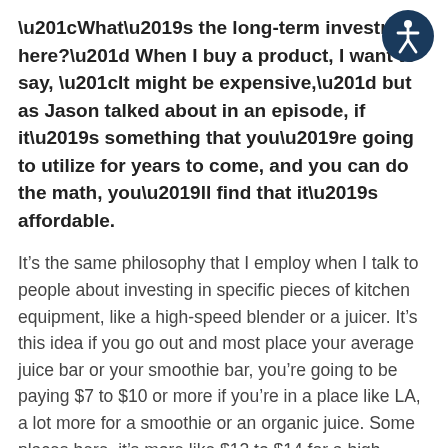“What’s the long-term investment here?” When I buy a product, I want to say, “It might be expensive,” but as Jason talked about in an episode, if it’s something that you’re going to utilize for years to come, and you can do the math, you’ll find that it’s affordable.
[Figure (illustration): Accessibility icon: dark blue circle with a white human figure (wheelchair accessibility symbol)]
It’s the same philosophy that I employ when I talk to people about investing in specific pieces of kitchen equipment, like a high-speed blender or a juicer. It’s this idea if you go out and most place your average juice bar or your smoothie bar, you’re going to be paying $7 to $10 or more if you’re in a place like LA, a lot more for a smoothie or an organic juice. Some places here, it’s more like $12 to $14 for a high-quality organic smoothie or juice. If you add it up and spend something like $500 on a blender or a juicer, or you invest in something like Rapid Release, you outweigh that against what you would be paying per item, per service, per smoothie, per massage